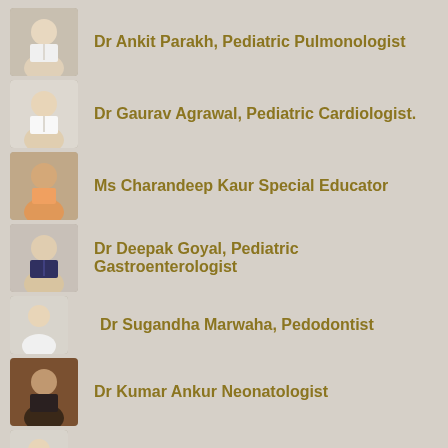Dr Ankit Parakh, Pediatric Pulmonologist
Dr Gaurav Agrawal, Pediatric Cardiologist.
Ms Charandeep Kaur Special Educator
Dr Deepak Goyal, Pediatric Gastroenterologist
Dr Sugandha Marwaha, Pedodontist
Dr Kumar Ankur Neonatologist
Dr Nargesh Agrawal, Pediatric Orthopedic Surgeon
Dr Ashish Prasad Consultant, Pediatric Surgery &